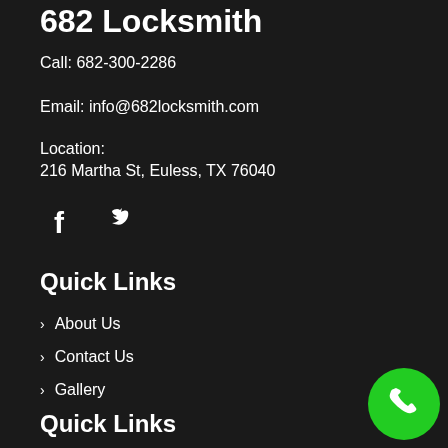682 Locksmith
Call: 682-300-2286
Email: info@682locksmith.com
Location:
216 Martha St, Euless, TX 76040
[Figure (illustration): Facebook and Twitter social media icons in white]
Quick Links
About Us
Contact Us
Gallery
Blogs
Quick Links
Automotive Locksmith
[Figure (illustration): Green circular phone call button in the bottom right corner]